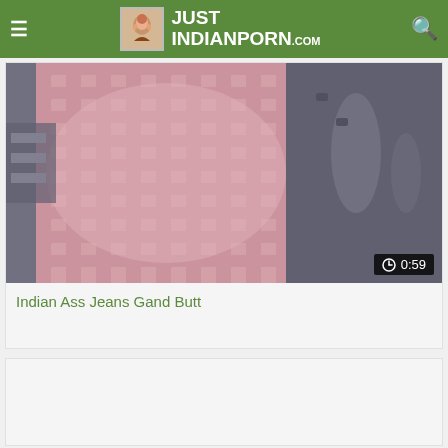JUST INDIANPORN.com
[Figure (photo): Video thumbnail showing person in pink checkered shirt and dark jeans, duration badge showing 0:59]
Indian Ass Jeans Gand Butt